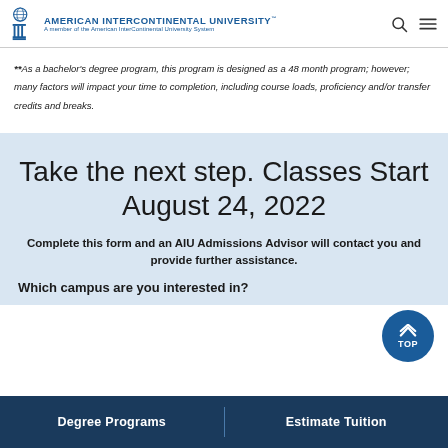American InterContinental University — A member of the American InterContinental University System
**As a bachelor's degree program, this program is designed as a 48 month program; however; many factors will impact your time to completion, including course loads, proficiency and/or transfer credits and breaks.
Take the next step. Classes Start August 24, 2022
Complete this form and an AIU Admissions Advisor will contact you and provide further assistance.
Which campus are you interested in?
Degree Programs | Estimate Tuition